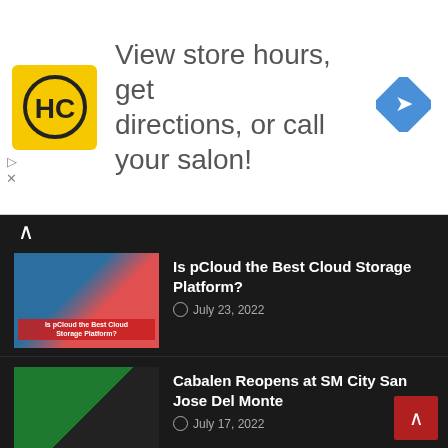[Figure (infographic): Advertisement banner: HC logo (yellow square with HC letters), text 'View store hours, get directions, or call your salon!', blue diamond arrow icon]
[Figure (photo): Thumbnail image for pCloud article with blue and red tones]
Is pCloud the Best Cloud Storage Platform?
July 23, 2022
[Figure (photo): Thumbnail image for Cabalen article with green restaurant branding and group of people]
Cabalen Reopens at SM City San Jose Del Monte
July 17, 2022
Most Popular
[Figure (photo): Thumbnail image for Moca Moca App article, light colored app UI]
Moca Moca App Problems and Complaints
Monday, July 04, 2022
[Figure (photo): Thumbnail image for ASCOF Lagundi Syrup article]
Why moms trust ASCOF Lagundi Syrup